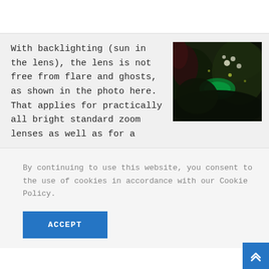With backlighting (sun in the lens), the lens is not free from flare and ghosts, as shown in the photo here. That applies for practically all bright standard zoom lenses as well as for a
[Figure (photo): Dark garden/nature photo showing plants and flowers with a green lens flare artifact visible in the center]
By continuing to use this website, you consent to the use of cookies in accordance with our Cookie Policy.
ACCEPT